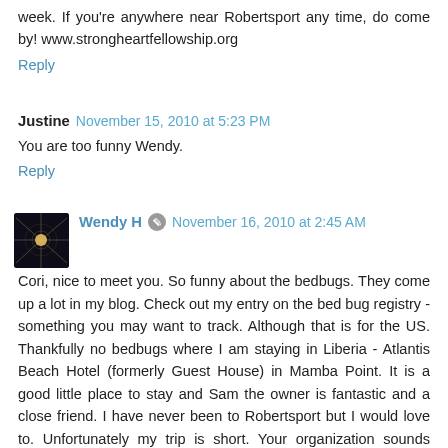week. If you're anywhere near Robertsport any time, do come by! www.strongheartfellowship.org
Reply
Justine  November 15, 2010 at 5:23 PM
You are too funny Wendy.
Reply
[Figure (photo): Avatar image for Wendy H, showing a dark/night scene with a bright light or spider web effect]
Wendy H  November 16, 2010 at 2:45 AM
Cori, nice to meet you. So funny about the bedbugs. They come up a lot in my blog. Check out my entry on the bed bug registry - something you may want to track. Although that is for the US. Thankfully no bedbugs where I am staying in Liberia - Atlantis Beach Hotel (formerly Guest House) in Mamba Point. It is a good little place to stay and Sam the owner is fantastic and a close friend. I have never been to Robertsport but I would love to. Unfortunately my trip is short. Your organization sounds wonderful. I think I might be one of the ones who got it right, great foot...